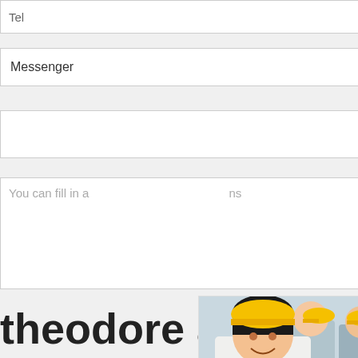Tel
Messenger
You can fill in a ...ns
[Figure (screenshot): Live Chat popup with photo of smiling worker in yellow hard hat and colleagues in background, LIVE CHAT heading in red, Click for a Free Consultation subtitle, Chat now (red) and Chat later (dark) buttons, close button top right]
Order Now
theodore al millwo
[Figure (screenshot): Right sidebar widget showing industrial machine (cone crusher) image, 'hour online' text, 'Click me to chat>>' blue button, Enquiry label, limingjlmofen text, all on blue background]